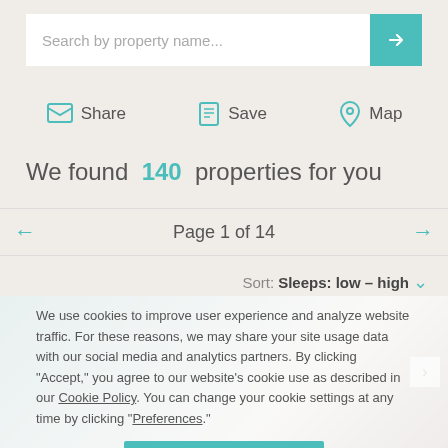Search by property name...
Share
Save
Map
We found 140 properties for you
Page 1 of 14
Sort: Sleeps: low – high
We use cookies to improve user experience and analyze website traffic. For these reasons, we may share your site usage data with our social media and analytics partners. By clicking "Accept," you agree to our website's cookie use as described in our Cookie Policy. You can change your cookie settings at any time by clicking "Preferences."
Accept
[Figure (photo): Property listing photo showing interior of a property]